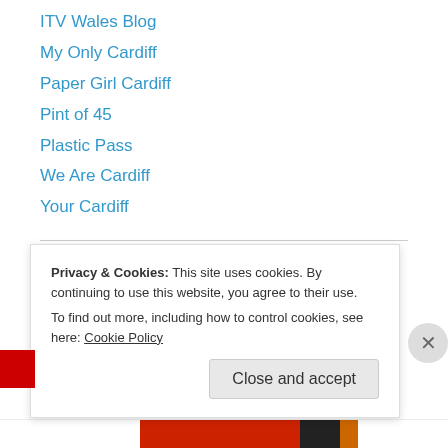ITV Wales Blog
My Only Cardiff
Paper Girl Cardiff
Pint of 45
Plastic Pass
We Are Cardiff
Your Cardiff
Cardiff Blogs
An error has occurred; the feed is probably down. Try again later.
Privacy & Cookies: This site uses cookies. By continuing to use this website, you agree to their use.
To find out more, including how to control cookies, see here: Cookie Policy